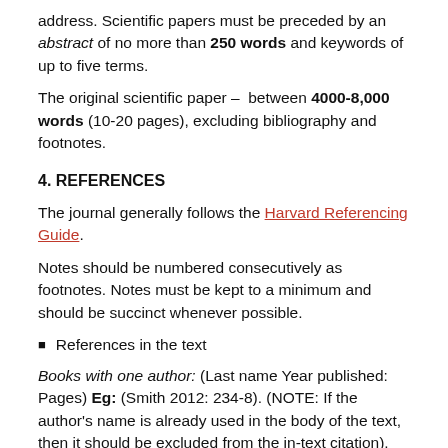address. Scientific papers must be preceded by an abstract of no more than 250 words and keywords of up to five terms.
The original scientific paper – between 4000-8,000 words (10-20 pages), excluding bibliography and footnotes.
4. REFERENCES
The journal generally follows the Harvard Referencing Guide.
Notes should be numbered consecutively as footnotes. Notes must be kept to a minimum and should be succinct whenever possible.
References in the text
Books with one author: (Last name Year published: Pages) Eg: (Smith 2012: 234-8). (NOTE: If the author's name is already used in the body of the text, then it should be excluded from the in-text citation). Where more than one work by the same author, the cited references should be in date order. Use